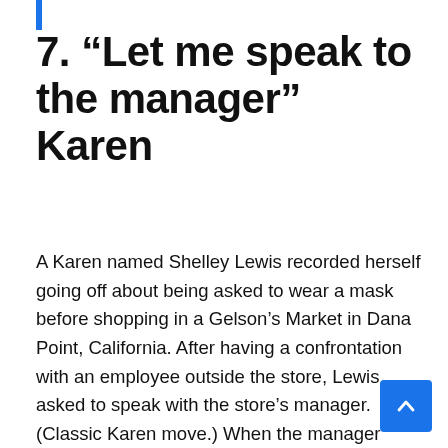7. “Let me speak to the manager” Karen
A Karen named Shelley Lewis recorded herself going off about being asked to wear a mask before shopping in a Gelson’s Market in Dana Point, California. After having a confrontation with an employee outside the store, Lewis asked to speak with the store’s manager. (Classic Karen move.) When the manager confirmed Lewis would not be allowed to shop without a mask she continued to argue and proceeded to ask for corporate’s number.
Though Lewis has reportedly taken her video